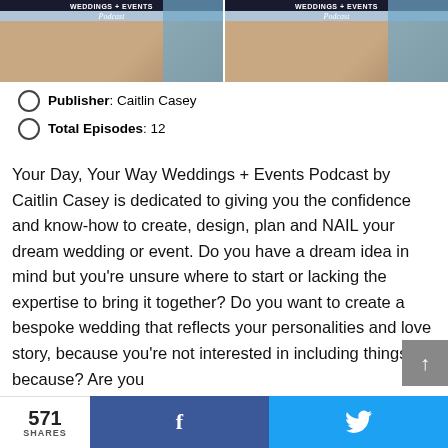[Figure (photo): Two side-by-side podcast cover images showing 'Weddings + Events Podcast' branding with a script 'Podcast' subtitle, against a tan/brown background with blue accent.]
Publisher: Caitlin Casey
Total Episodes: 12
Your Day, Your Way Weddings + Events Podcast by Caitlin Casey is dedicated to giving you the confidence and know-how to create, design, plan and NAIL your dream wedding or event. Do you have a dream idea in mind but you're unsure where to start or lacking the expertise to bring it together? Do you want to create a bespoke wedding that reflects your personalities and love story, because you're not interested in including things just because? Are you
571 SHARES  [Facebook share]  [Twitter share]